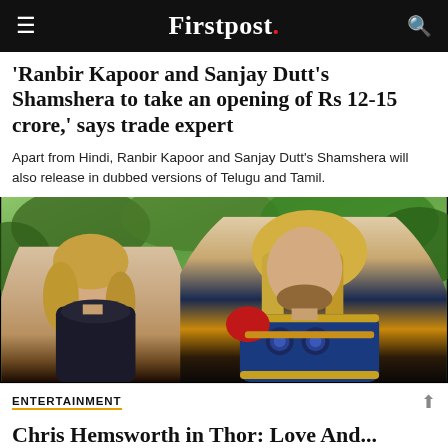Firstpost.
'Ranbir Kapoor and Sanjay Dutt's Shamshera to take an opening of Rs 12-15 crore,' says trade expert
Apart from Hindi, Ranbir Kapoor and Sanjay Dutt's Shamshera will also release in dubbed versions of Telugu and Tamil.
[Figure (photo): Two actors in superhero costumes against a green outdoor background — a woman in dark armor with blonde hair on the left, and a man in blue and gold armor with long blonde hair on the right.]
ENTERTAINMENT
Chris Hemsworth in Thor: Love And...